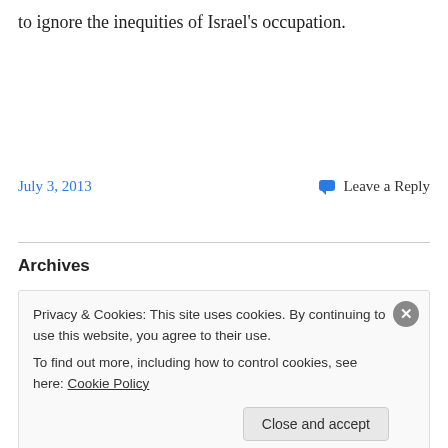to ignore the inequities of Israel's occupation.
July 3, 2013
Leave a Reply
Archives
Privacy & Cookies: This site uses cookies. By continuing to use this website, you agree to their use.
To find out more, including how to control cookies, see here: Cookie Policy
Close and accept